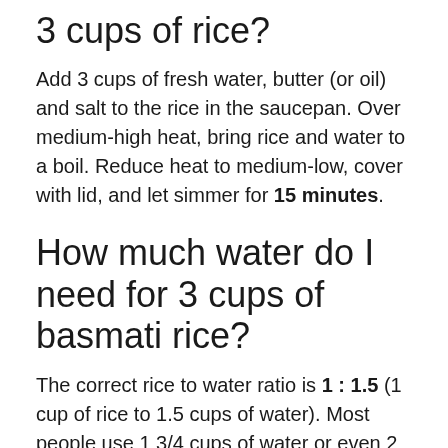3 cups of rice?
Add 3 cups of fresh water, butter (or oil) and salt to the rice in the saucepan. Over medium-high heat, bring rice and water to a boil. Reduce heat to medium-low, cover with lid, and let simmer for 15 minutes.
How much water do I need for 3 cups of basmati rice?
The correct rice to water ratio is 1 : 1.5 (1 cup of rice to 1.5 cups of water). Most people use 1 3/4 cups of water or even 2 cups of water, AND they rinse the rice which makes it waterlogged and makes the mushy rice problem even worse.